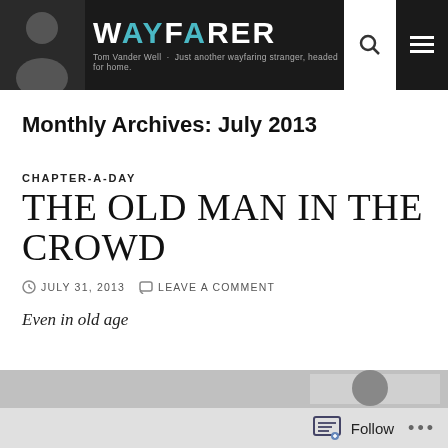wayfarer — Tom Vander Well — Just another wayfaring stranger, headed for home.
Monthly Archives: July 2013
CHAPTER-A-DAY
THE OLD MAN IN THE CROWD
JULY 31, 2013   LEAVE A COMMENT
Even in old age
Follow